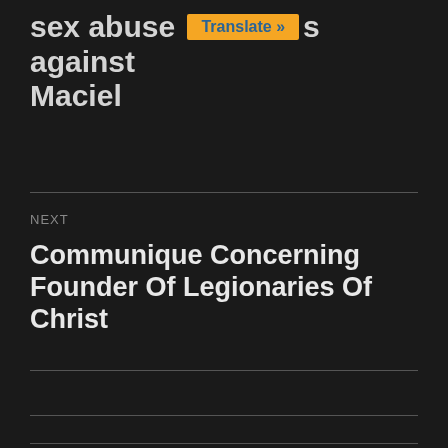sex abuse [Translate »] s against Maciel
NEXT
Communique Concerning Founder Of Legionaries Of Christ